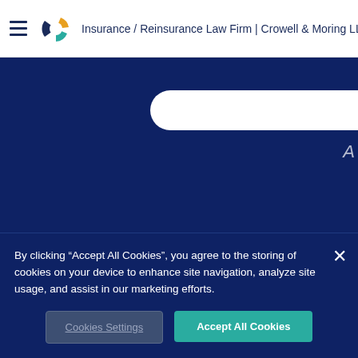Insurance / Reinsurance Law Firm | Crowell & Moring LLP
[Figure (screenshot): Dark blue hero section of Crowell & Moring LLP law firm website with a white pill-shaped search bar element and partial text]
By clicking “Accept All Cookies”, you agree to the storing of cookies on your device to enhance site navigation, analyze site usage, and assist in our marketing efforts.
Cookies Settings
Accept All Cookies